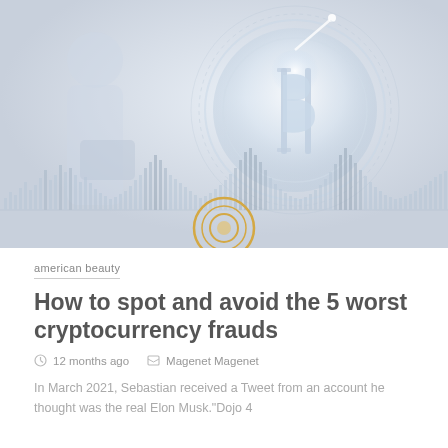[Figure (photo): A digital composite image showing a glowing Bitcoin coin symbol (₿) with circular rings in a light gray/white color palette, overlaid with a stock market chart/waveform at the bottom, and a faint human silhouette on the left. A golden double-ring target/play-button circle icon is centered at the bottom of the image.]
american beauty
How to spot and avoid the 5 worst cryptocurrency frauds
12 months ago   Magenet Magenet
In March 2021, Sebastian received a Tweet from an account he thought was the real Elon Musk."Dojo 4